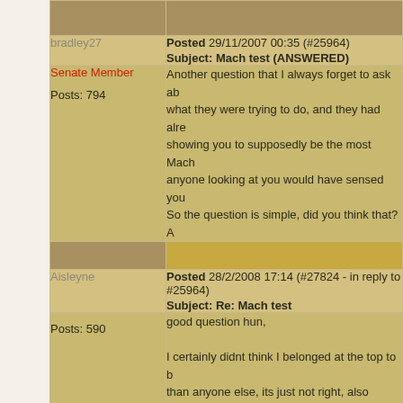bradley27
Posted 29/11/2007 00:35 (#25964)
Subject: Mach test (ANSWERED)
Senate Member
Posts: 794
Another question that I always forget to ask ab... what they were trying to do, and they had alre... showing you to supposedly be the most Mach... anyone looking at you would have sensed you... So the question is simple, did you think that? A...
Aisleyne
Posted 28/2/2008 17:14 (#27824 - in reply to #25964)
Subject: Re: Mach test
Posts: 590
good question hun,

I certainly didnt think I belonged at the top to b... than anyone else, its just not right, also whene... us!!!!

xx